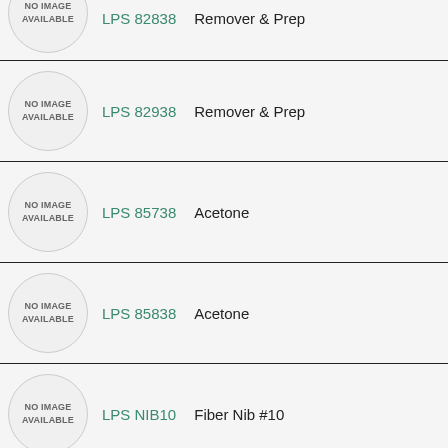[Figure (other): Product listing row (partial, top-cropped): LPS 82838 Remover & Prep, circle placeholder with NO IMAGE AVAILABLE]
LPS 82838    Remover & Prep
[Figure (other): Product listing row: LPS 82938 Remover & Prep, circle placeholder with NO IMAGE AVAILABLE]
LPS 82938    Remover & Prep
[Figure (other): Product listing row: LPS 85738 Acetone, circle placeholder with NO IMAGE AVAILABLE]
LPS 85738    Acetone
[Figure (other): Product listing row: LPS 85838 Acetone, circle placeholder with NO IMAGE AVAILABLE]
LPS 85838    Acetone
[Figure (other): Product listing row: LPS NIB10 Fiber Nib #10, circle placeholder with NO IMAGE AVAILABLE]
LPS NIB10    Fiber Nib #10